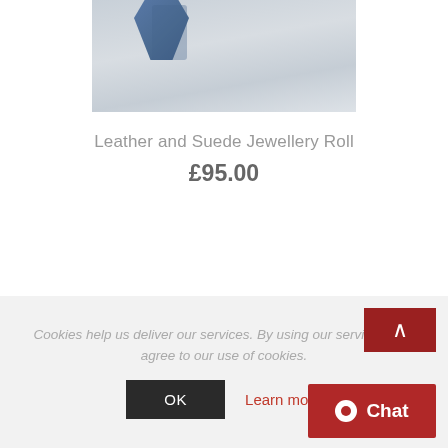[Figure (photo): Top portion of a product photo showing a leather and suede jewellery roll, partially visible against a light grey background with a blue textured element visible at the top.]
Leather and Suede Jewellery Roll
£95.00
[Figure (photo): Bottom portion of the same product photo showing a blue-grey leather jewellery roll laid flat.]
Cookies help us deliver our services. By using our services, you agree to our use of cookies.
OK
Learn more
Chat